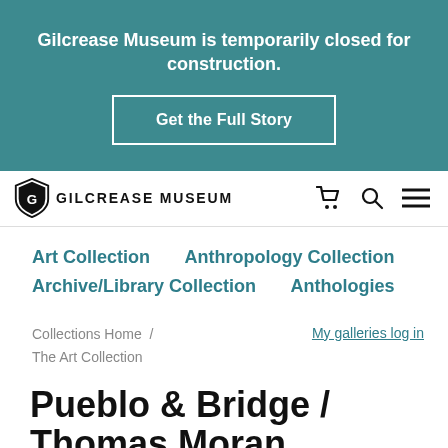Gilcrease Museum is temporarily closed for construction.
Get the Full Story
[Figure (logo): Gilcrease Museum shield logo with text GILCREASE MUSEUM]
Art Collection    Anthropology Collection
Archive/Library Collection    Anthologies
Collections Home / The Art Collection
My galleries log in
Pueblo & Bridge / Thomas Moran